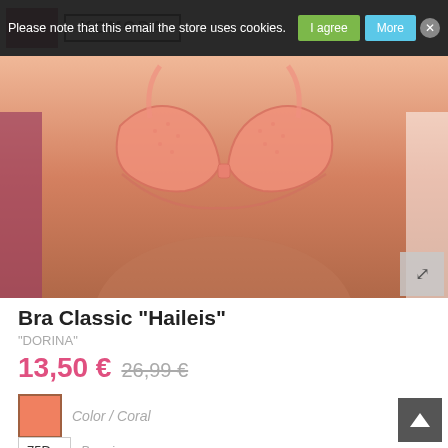Please note that this email the store uses cookies.
[Figure (screenshot): E-commerce product page showing a coral/peach colored bra product with cookie consent banner overlay at top, product image in center, and product details below]
Bra Classic "Haileis"
"DORINA"
13,50 € 26,99 €
Color / Coral
75D  Bra size
1  Quantity